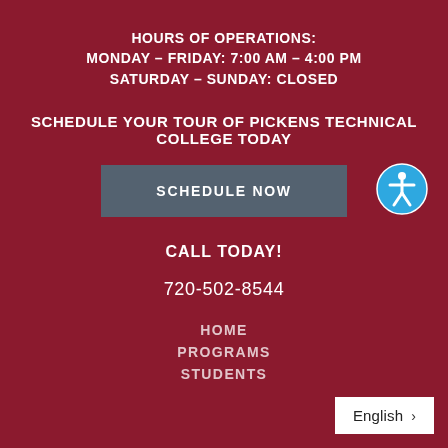HOURS OF OPERATIONS:
MONDAY – FRIDAY: 7:00 AM – 4:00 PM
SATURDAY – SUNDAY: CLOSED
SCHEDULE YOUR TOUR OF PICKENS TECHNICAL COLLEGE TODAY
[Figure (other): Grey button labeled SCHEDULE NOW]
[Figure (other): Blue circular accessibility icon with white person figure]
CALL TODAY!
720-502-8544
HOME
PROGRAMS
STUDENTS
English >